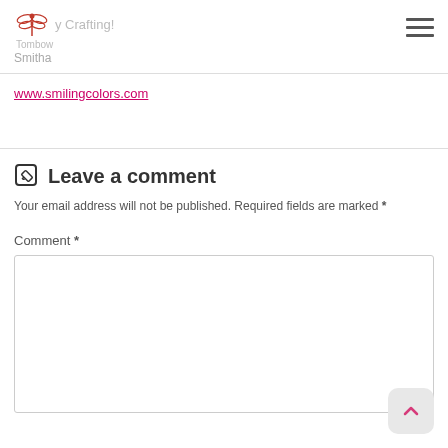by Crafting! Tombow Smitha
www.smilingcolors.com
Leave a comment
Your email address will not be published. Required fields are marked *
Comment *